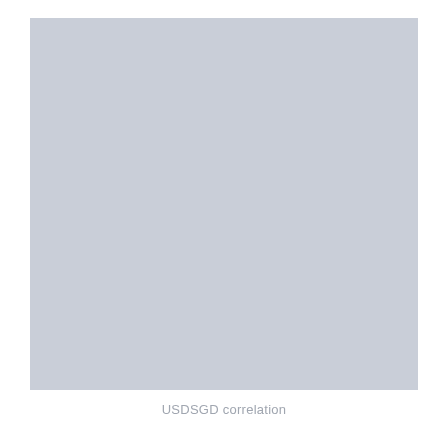[Figure (other): A large light blue-grey rectangular placeholder image representing a USDSGD correlation chart. The image area is filled with a uniform muted blue-grey color (#c8cdd6) with no visible chart content.]
USDSGD correlation